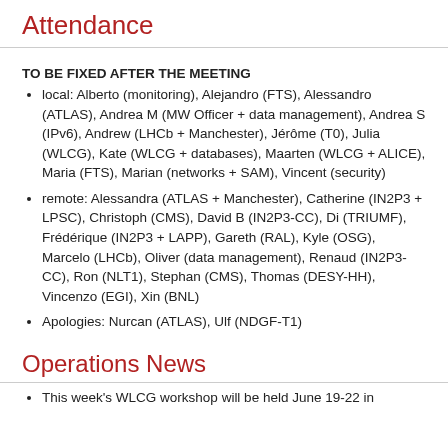Attendance
TO BE FIXED AFTER THE MEETING
local: Alberto (monitoring), Alejandro (FTS), Alessandro (ATLAS), Andrea M (MW Officer + data management), Andrea S (IPv6), Andrew (LHCb + Manchester), Jérôme (T0), Julia (WLCG), Kate (WLCG + databases), Maarten (WLCG + ALICE), Maria (FTS), Marian (networks + SAM), Vincent (security)
remote: Alessandra (ATLAS + Manchester), Catherine (IN2P3 + LPSC), Christoph (CMS), David B (IN2P3-CC), Di (TRIUMF), Frédérique (IN2P3 + LAPP), Gareth (RAL), Kyle (OSG), Marcelo (LHCb), Oliver (data management), Renaud (IN2P3-CC), Ron (NLT1), Stephan (CMS), Thomas (DESY-HH), Vincenzo (EGI), Xin (BNL)
Apologies: Nurcan (ATLAS), Ulf (NDGF-T1)
Operations News
This week's WLCG workshop will be held June 19-22 in